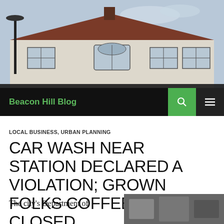[Figure (photo): Exterior photo of a building with brown hip roof, white/cream siding, multiple large windows, and a chimney. Sky visible in background. Street light on left.]
Beacon Hill Blog
LOCAL BUSINESS, URBAN PLANNING
CAR WASH NEAR STATION DECLARED A VIOLATION; GROWN FOLKS COFFEEHOUSE CLOSED
JULY 20, 2009  WENDI DUNLAP  6 COMMENTS
The city's Department of